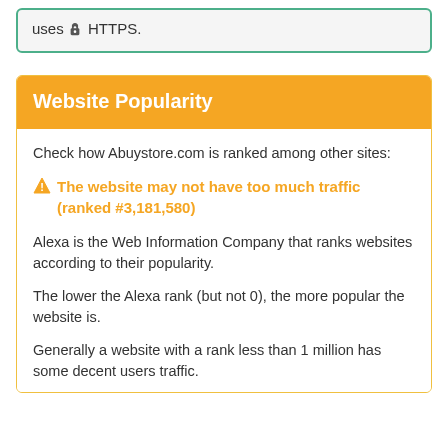uses 🔒 HTTPS.
Website Popularity
Check how Abuystore.com is ranked among other sites:
⚠ The website may not have too much traffic (ranked #3,181,580)
Alexa is the Web Information Company that ranks websites according to their popularity.
The lower the Alexa rank (but not 0), the more popular the website is.
Generally a website with a rank less than 1 million has some decent users traffic.